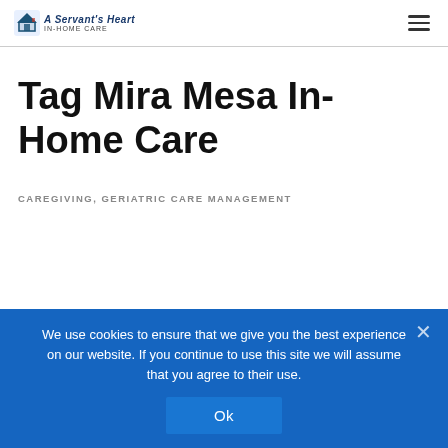A Servant's Heart In-Home Care
Tag Mira Mesa In-Home Care
CAREGIVING, GERIATRIC CARE MANAGEMENT
We use cookies to ensure that we give you the best experience on our website. If you continue to use this site we will assume that you agree to their use.